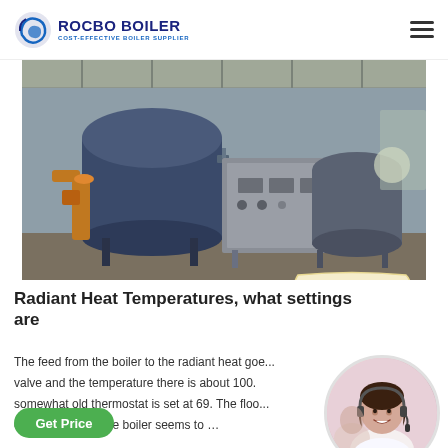ROCBO BOILER — COST-EFFECTIVE BOILER SUPPLIER
[Figure (photo): Industrial boiler facility interior showing large blue cylindrical boiler and gray equipment on a warehouse floor, with orange pipe fittings visible. A red '10% DISCOUNT' badge overlays the bottom-right corner of the image.]
Radiant Heat Temperatures, what settings are
The feed from the boiler to the radiant heat goe... valve and the temperature there is about 100. somewhat old thermostat is set at 69. The floo or - .5 degrees. The boiler seems to …
[Figure (photo): Customer service representative woman wearing a headset, smiling, shown in a circular crop.]
Get Price